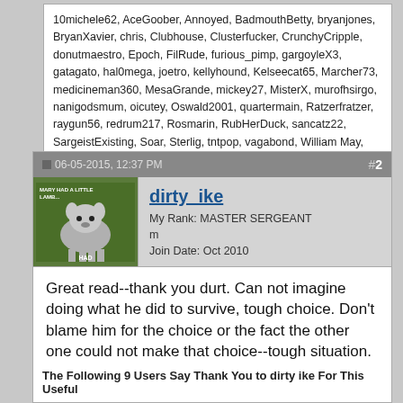10michele62, AceGoober, Annoyed, BadmouthBetty, bryanjones, BryanXavier, chris, Clubhouse, Clusterfucker, CrunchyCripple, donutmaestro, Epoch, FilRude, furious_pimp, gargoyleX3, gatagato, hal0mega, joetro, kellyhound, Kelseecat65, Marcher73, medicineman360, MesaGrande, mickey27, MisterX, murofhsirgo, nanigodsmum, oicutey, Oswald2001, quartermain, Ratzerfratzer, raygun56, redrum217, Rosmarin, RubHerDuck, sancatz22, SargeistExisting, Soar, Sterlig, tntpop, vagabond, William May, winvens
06-05-2015, 12:37 PM
#2
dirty_ike
My Rank: MASTER SERGEANT
m
Join Date: Oct 2010
Great read--thank you durt. Can not imagine doing what he did to survive, tough choice. Don't blame him for the choice or the fact the other one could not make that choice--tough situation.
HOME   QUOTE
The Following 9 Users Say Thank You to dirty ike For This Useful